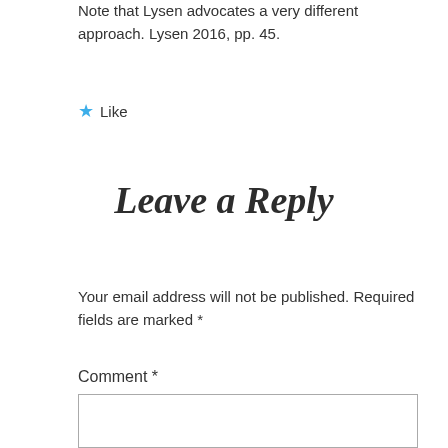Note that Lysen advocates a very different approach. Lysen 2016, pp. 45.
★ Like
Leave a Reply
Your email address will not be published. Required fields are marked *
Comment *